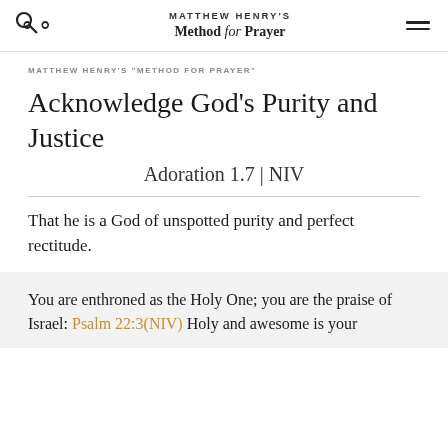MATTHEW HENRY'S Method for Prayer
MATTHEW HENRY'S "METHOD FOR PRAYER"
Acknowledge God's Purity and Justice
Adoration 1.7 | NIV
That he is a God of unspotted purity and perfect rectitude.
You are enthroned as the Holy One; you are the praise of Israel: Psalm 22:3(NIV) Holy and awesome is your